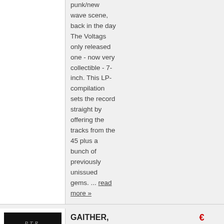punk/new wave scene, back in the day The Voltags only released one - now very collectible - 7-inch. This LP-compilation sets the record straight by offering the tracks from the 45 plus a bunch of previously unissued gems. ... read more »
[Figure (photo): Black vinyl record label showing 'P.T.R.' text and a white circle representing a record label, on black background]
GAITHER, JEFFREY - STRUGGLING GHETTO
€ 9.95